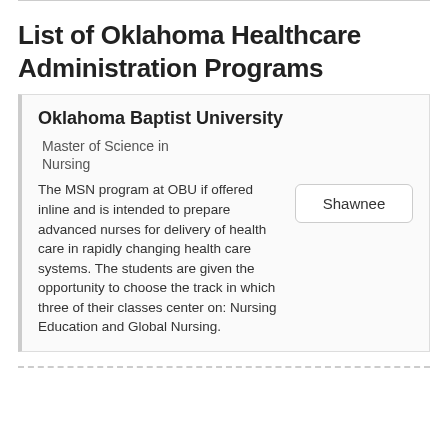List of Oklahoma Healthcare Administration Programs
Oklahoma Baptist University
Master of Science in Nursing
The MSN program at OBU if offered inline and is intended to prepare advanced nurses for delivery of health care in rapidly changing health care systems. The students are given the opportunity to choose the track in which three of their classes center on: Nursing Education and Global Nursing.
Shawnee